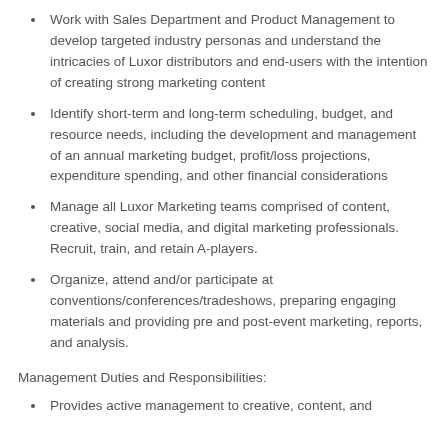Work with Sales Department and Product Management to develop targeted industry personas and understand the intricacies of Luxor distributors and end-users with the intention of creating strong marketing content
Identify short-term and long-term scheduling, budget, and resource needs, including the development and management of an annual marketing budget, profit/loss projections, expenditure spending, and other financial considerations
Manage all Luxor Marketing teams comprised of content, creative, social media, and digital marketing professionals. Recruit, train, and retain A-players.
Organize, attend and/or participate at conventions/conferences/tradeshows, preparing engaging materials and providing pre and post-event marketing, reports, and analysis.
Management Duties and Responsibilities:
Provides active management to creative, content, and